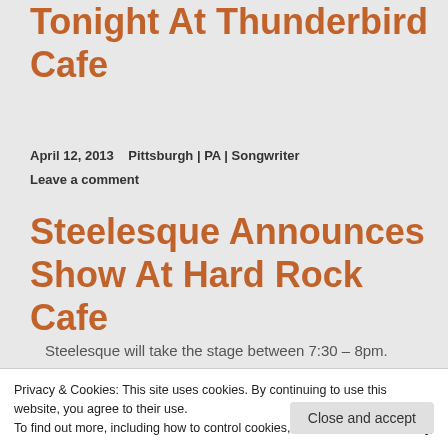Tonight At Thunderbird Cafe
April 12, 2013    Pittsburgh | PA | Songwriter
Leave a comment
Steelesque Announces Show At Hard Rock Cafe
Steelesque will take the stage between 7:30 – 8pm.
Privacy & Cookies: This site uses cookies. By continuing to use this website, you agree to their use.
To find out more, including how to control cookies, see here: Cookie Policy
Close and accept